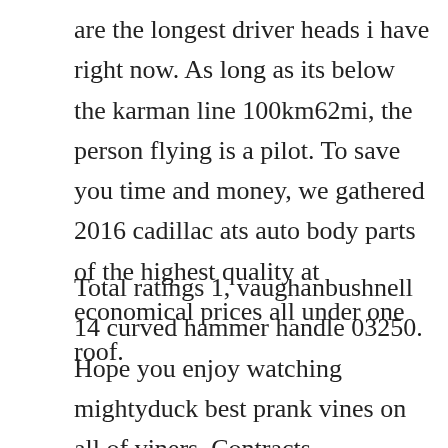are the longest driver heads i have right now. As long as its below the karman line 100km62mi, the person flying is a pilot. To save you time and money, we gathered 2016 cadillac ats auto body parts of the highest quality at economical prices all under one roof.
Total ratings 1, vaughanbushnell 14 curved hammer handle 03250. Hope you enjoy watching mightyduck best prank vines on all of viners. Contracts, agreements, and forms needed to form, deliver, and close